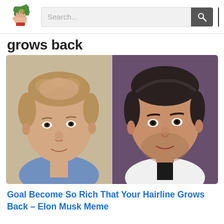Search...
grows back
[Figure (photo): Side-by-side comparison photos of Elon Musk: left photo shows him younger with thinning/receding hairline, right photo shows him more recently with fuller hair, wearing a white jacket with black tie.]
Goal Become So Rich That Your Hairline Grows Back – Elon Musk Meme